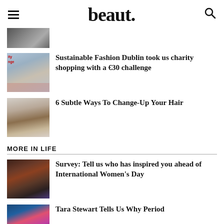beaut.
[Figure (photo): Partial thumbnail image at top, dark/grey tones]
Sustainable Fashion Dublin took us charity shopping with a €30 challenge
6 Subtle Ways To Change-Up Your Hair
MORE IN LIFE
Survey: Tell us who has inspired you ahead of International Women's Day
Tara Stewart Tells Us Why Period